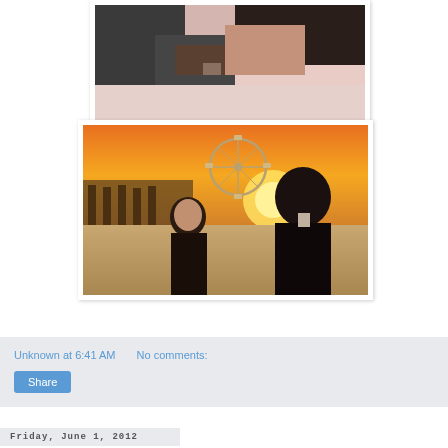[Figure (photo): Two people lying down together, one in a dark jacket, close-up shot with warm tones, partial top crop visible]
[Figure (photo): Couple at a beach near a pier with a Ferris wheel at sunset; woman looking up smiling at man in dark jacket, golden sunset background]
Unknown at 6:41 AM   No comments:
Share
Friday, June 1, 2012